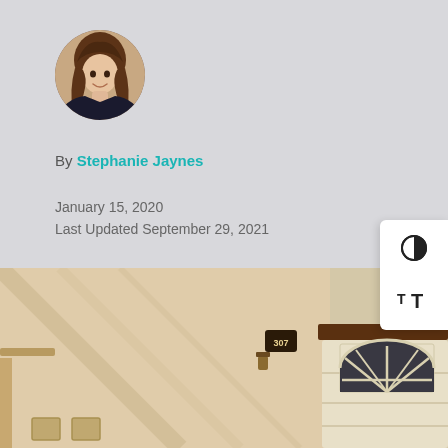[Figure (photo): Circular avatar/headshot of a young woman with brown wavy hair, smiling, wearing a dark top]
By Stephanie Jaynes
January 15, 2020
Last Updated September 29, 2021
[Figure (illustration): Accessibility widget with contrast toggle icon and text size toggle (TT) icons, white background floating on right side]
[Figure (photo): Exterior photo of a house with a beige/cream garage door featuring an arched window with dark pane dividers, house number 307 visible on wall, shadows on light stucco wall]